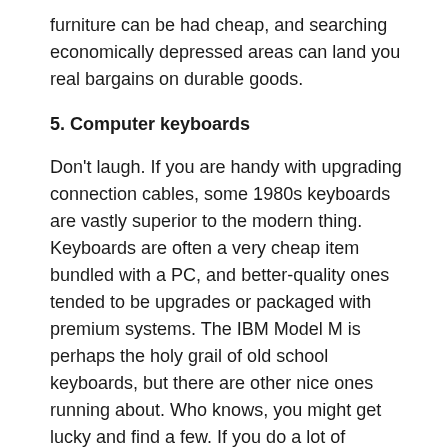furniture can be had cheap, and searching economically depressed areas can land you real bargains on durable goods.
5. Computer keyboards
Don't laugh. If you are handy with upgrading connection cables, some 1980s keyboards are vastly superior to the modern thing. Keyboards are often a very cheap item bundled with a PC, and better-quality ones tended to be upgrades or packaged with premium systems. The IBM Model M is perhaps the holy grail of old school keyboards, but there are other nice ones running about. Who knows, you might get lucky and find a few. If you do a lot of typing, or simply enjoy a high-end keyboard, your fingers will thank you.
Conclusion